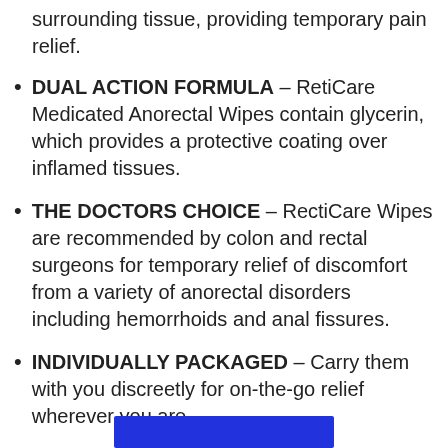surrounding tissue, providing temporary pain relief.
DUAL ACTION FORMULA – RetiCare Medicated Anorectal Wipes contain glycerin, which provides a protective coating over inflamed tissues.
THE DOCTORS CHOICE – RectiCare Wipes are recommended by colon and rectal surgeons for temporary relief of discomfort from a variety of anorectal disorders including hemorrhoids and anal fissures.
INDIVIDUALLY PACKAGED – Carry them with you discreetly for on-the-go relief wherever you are.
[Figure (other): Blue button or banner at bottom of page]